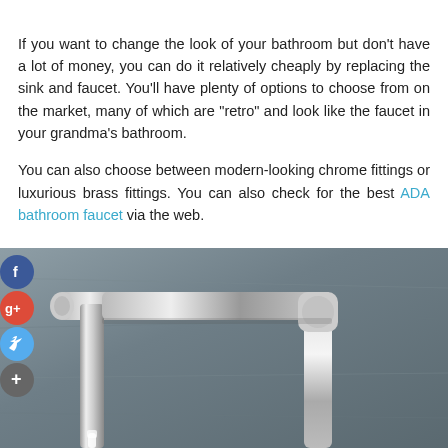If you want to change the look of your bathroom but don't have a lot of money, you can do it relatively cheaply by replacing the sink and faucet. You'll have plenty of options to choose from on the market, many of which are "retro" and look like the faucet in your grandma's bathroom.
You can also choose between modern-looking chrome fittings or luxurious brass fittings. You can also check for the best ADA bathroom faucet via the web.
[Figure (photo): Close-up photo of a modern chrome bathroom faucet with water flowing, set against a grey slate background. Social media share icons (Facebook, Google+, Twitter, add) appear on the left side overlapping the image.]